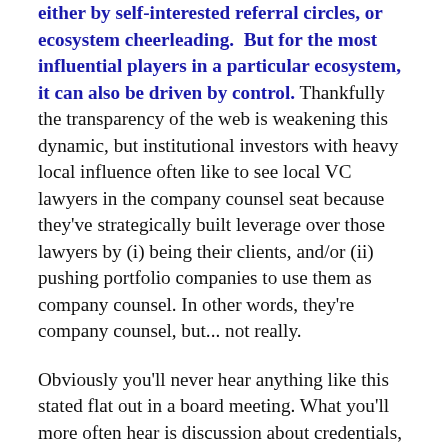either by self-interested referral circles, or ecosystem cheerleading.  But for the most influential players in a particular ecosystem, it can also be driven by control. Thankfully the transparency of the web is weakening this dynamic, but institutional investors with heavy local influence often like to see local VC lawyers in the company counsel seat because they've strategically built leverage over those lawyers by (i) being their clients, and/or (ii) pushing portfolio companies to use them as company counsel. In other words, they're company counsel, but... not really.

Obviously you'll never hear anything like this stated flat out in a board meeting. What you'll more often hear is discussion about credentials, or familiarity, or experience, etc. etc. “I’m not sure those lawyers have the right experience” or “We’re more